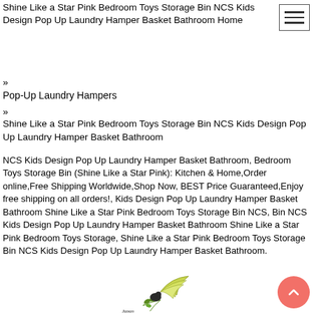Shine Like a Star Pink Bedroom Toys Storage Bin NCS Kids Design Pop Up Laundry Hamper Basket Bathroom Home
»
Pop-Up Laundry Hampers
»
Shine Like a Star Pink Bedroom Toys Storage Bin NCS Kids Design Pop Up Laundry Hamper Basket Bathroom
NCS Kids Design Pop Up Laundry Hamper Basket Bathroom, Bedroom Toys Storage Bin (Shine Like a Star Pink): Kitchen & Home,Order online,Free Shipping Worldwide,Shop Now, BEST Price Guaranteed,Enjoy free shipping on all orders!, Kids Design Pop Up Laundry Hamper Basket Bathroom Shine Like a Star Pink Bedroom Toys Storage Bin NCS, Bin NCS Kids Design Pop Up Laundry Hamper Basket Bathroom Shine Like a Star Pink Bedroom Toys Storage, Shine Like a Star Pink Bedroom Toys Storage Bin NCS Kids Design Pop Up Laundry Hamper Basket Bathroom.
[Figure (logo): Japan Pet Ceremony logo with yellow wing and leaf motif]